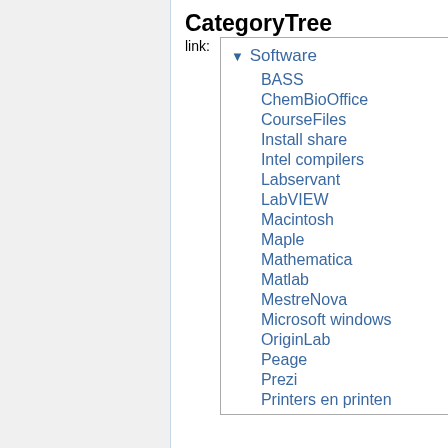CategoryTree
link:
▼ Software
BASS
ChemBioOffice
CourseFiles
Install share
Intel compilers
Labservant
LabVIEW
Macintosh
Maple
Mathematica
Matlab
MestreNova
Microsoft windows
OriginLab
Peage
Prezi
Printers en printen